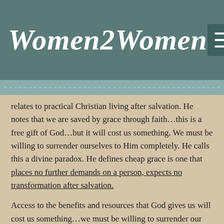Women2Women
relates to practical Christian living after salvation. He notes that we are saved by grace through faith…this is a free gift of God…but it will cost us something. We must be willing to surrender ourselves to Him completely. He calls this a divine paradox. He defines cheap grace is one that places no further demands on a person, expects no transformation after salvation.
Access to the benefits and resources that God gives us will cost us something…we must be willing to surrender our lives, our will, our dreams, our rights to Him in order for Him to mold us into the image of His Son. This is a lifelong process.
Pictured this…